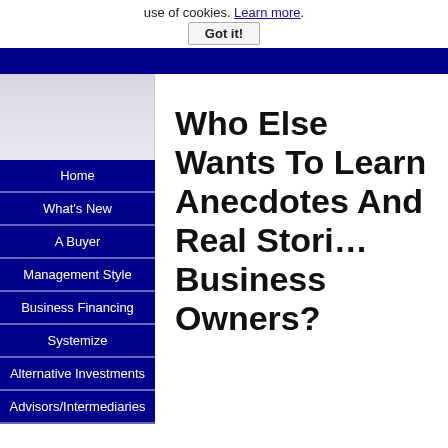use of cookies. Learn more.
Got it!
Navigation bar
Who Else Wants To Learn Anecdotes And Real Stories Business Owners?
Home
What's New
A Buyer
Management Style
Business Financing
Systemize
Alternative Investments
Advisors/Intermediaries